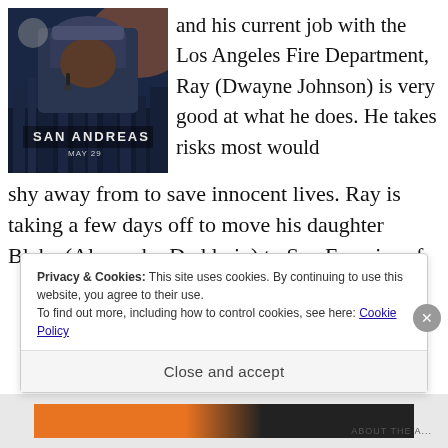[Figure (photo): Movie poster for San Andreas (May 29) showing Dwayne Johnson in a rescue helmet against a destroyed city skyline]
and his current job with the Los Angeles Fire Department, Ray (Dwayne Johnson) is very good at what he does. He takes risks most would shy away from to save innocent lives. Ray is taking a few days off to move his daughter Blake (Alexandra Daddario) to San Francisco f
Privacy & Cookies: This site uses cookies. By continuing to use this website, you agree to their use.
To find out more, including how to control cookies, see here: Cookie Policy
Close and accept